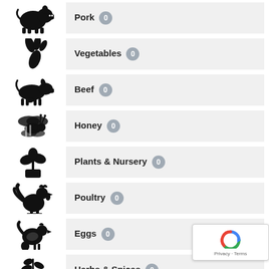Pork 0
Vegetables 0
Beef 0
Honey 0
Plants & Nursery 0
Poultry 0
Eggs 0
Herbs & Spices 0
[gear icon row, partial]